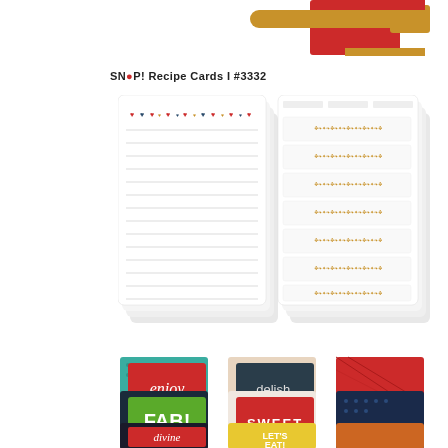[Figure (photo): Partial view of a wooden kitchen tool and red box top edge at top of page]
SNAP! Recipe Cards I #3332
[Figure (photo): Stacked recipe card packs: lined white cards with colorful heart decorations at top (left stack) and measurement/ingredient label cards with decorative borders (right stack)]
[Figure (photo): Rows of decorative pocket/journal cards showing: enjoy (red script), delish. (dark teal), FAB! (green), SWEET (red), divine (dark script), LET'S EAT! (yellow), plus patterned cards in teal dots, floral, navy floral, hearts, chevron, geometric patterns]